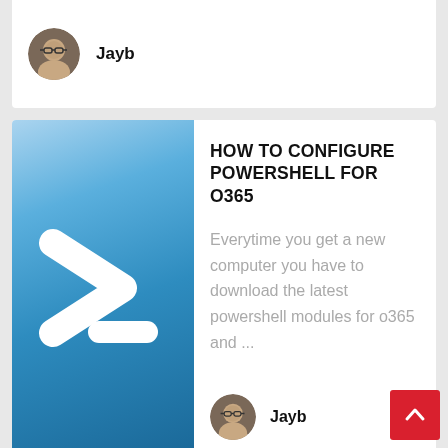[Figure (screenshot): Partial top card showing user avatar and author name 'Jayb']
Jayb
[Figure (screenshot): Article card with PowerShell logo (blue background with white > arrow icon)]
HOW TO CONFIGURE POWERSHELL FOR O365
Everytime you get a new computer you have to download the latest powershell modules for o365 and ...
Jayb
[Figure (screenshot): Partial bottom article card with Microsoft website screenshot showing Products & Services navigation and Training & Certifications section]
ONLINE TECHNICAL TRAINING
I've had a few new employees and current employees looking for training on Cisco and Linux trainin...